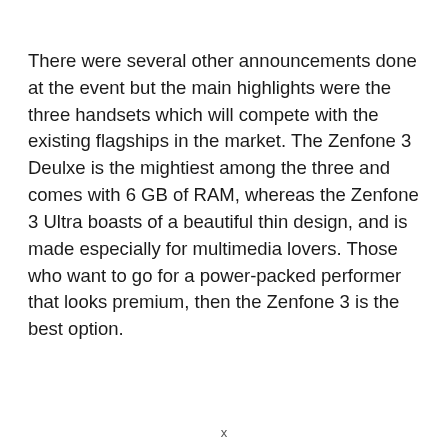There were several other announcements done at the event but the main highlights were the three handsets which will compete with the existing flagships in the market. The Zenfone 3 Deulxe is the mightiest among the three and comes with 6 GB of RAM, whereas the Zenfone 3 Ultra boasts of a beautiful thin design, and is made especially for multimedia lovers. Those who want to go for a power-packed performer that looks premium, then the Zenfone 3 is the best option.
x